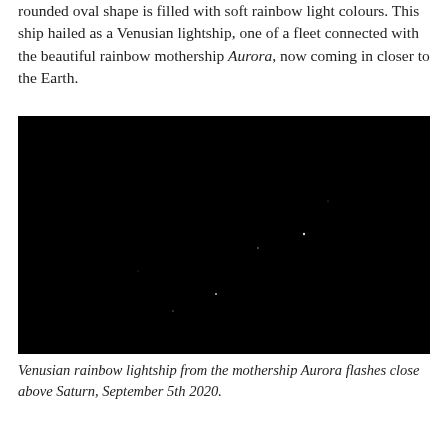rounded oval shape is filled with soft rainbow light colours. This ship hailed as a Venusian lightship, one of a fleet connected with the beautiful rainbow mothership Aurora, now coming in closer to the Earth.
[Figure (photo): Dark/black night sky photograph with tiny faint white light points, representing a Venusian rainbow lightship photographed near Saturn.]
Venusian rainbow lightship from the mothership Aurora flashes close above Saturn, September 5th 2020.